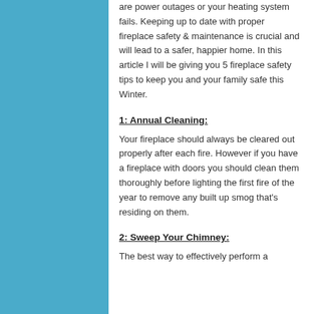are power outages or your heating system fails. Keeping up to date with proper fireplace safety & maintenance is crucial and will lead to a safer, happier home. In this article I will be giving you 5 fireplace safety tips to keep you and your family safe this Winter.
1: Annual Cleaning:
Your fireplace should always be cleared out properly after each fire. However if you have a fireplace with doors you should clean them thoroughly before lighting the first fire of the year to remove any built up smog that's residing on them.
2: Sweep Your Chimney:
The best way to effectively perform a